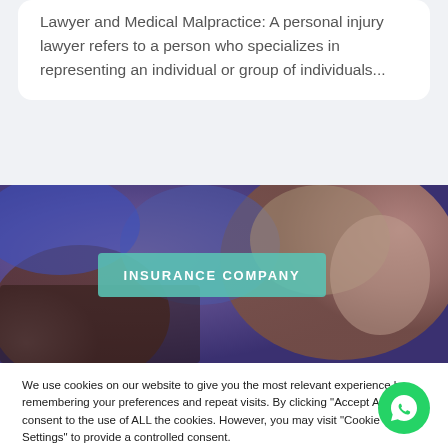Lawyer and Medical Malpractice: A personal injury lawyer refers to a person who specializes in representing an individual or group of individuals...
[Figure (photo): Photo of a person receiving medical care or massage, with a teal/green overlay label reading INSURANCE COMPANY]
We use cookies on our website to give you the most relevant experience by remembering your preferences and repeat visits. By clicking "Accept All", you consent to the use of ALL the cookies. However, you may visit "Cookie Settings" to provide a controlled consent.